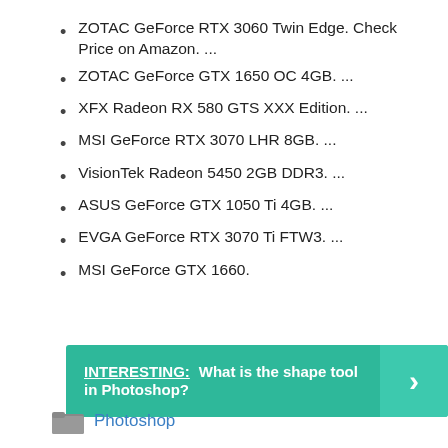ZOTAC GeForce RTX 3060 Twin Edge. Check Price on Amazon. ...
ZOTAC GeForce GTX 1650 OC 4GB. ...
XFX Radeon RX 580 GTS XXX Edition. ...
MSI GeForce RTX 3070 LHR 8GB. ...
VisionTek Radeon 5450 2GB DDR3. ...
ASUS GeForce GTX 1050 Ti 4GB. ...
EVGA GeForce RTX 3070 Ti FTW3. ...
MSI GeForce GTX 1660.
INTERESTING: What is the shape tool in Photoshop?
Photoshop